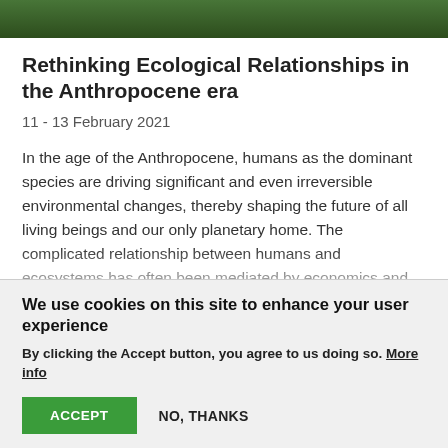[Figure (photo): Cropped photo strip showing a natural/forest scene with green tones at the top of the page]
Rethinking Ecological Relationships in the Anthropocene era
11 - 13 February 2021
In the age of the Anthropocene, humans as the dominant species are driving significant and even irreversible environmental changes, thereby shaping the future of all living beings and our only planetary home. The complicated relationship between humans and ecosystems has often been mediated by economics and technology. Prevailing theologies and spiritualities have also molded those interactions
We use cookies on this site to enhance your user experience
By clicking the Accept button, you agree to us doing so. More info
ACCEPT   NO, THANKS